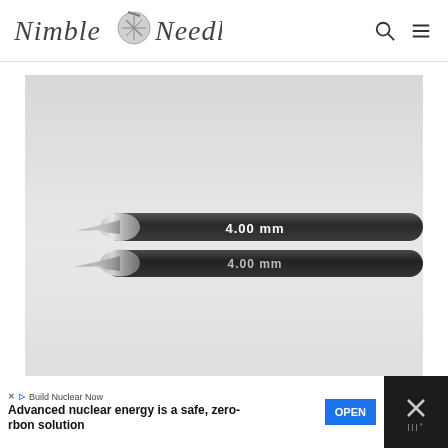Nimble Needles
[Figure (photo): Close-up photo of two dark charcoal/black knitting needles with silver metallic tips on a light grey background. Both needles have white text: the top needle reads '4.00 mm' and the bottom reads '4.00 mm'. A small Nimble Needles logo watermark appears in the bottom right corner of the photo.]
Build Nuclear Now
Advanced nuclear energy is a safe, zero-carbon solution